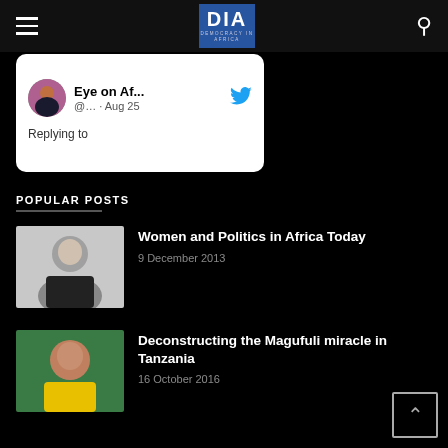DIA Democracy in Africa
[Figure (screenshot): Partial Twitter/X card showing Eye on Af... account (@...) Aug 25, with text 'Replying to']
POPULAR POSTS
[Figure (photo): Black and white photo of a woman smiling, wearing dark clothing]
Women and Politics in Africa Today
9 December 2013
[Figure (photo): Photo of a man smiling against a green background]
Deconstructing the Magufuli miracle in Tanzania
16 October 2016